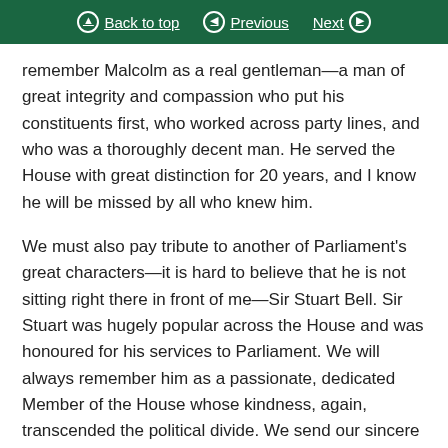Back to top | Previous | Next
remember Malcolm as a real gentleman—a man of great integrity and compassion who put his constituents first, who worked across party lines, and who was a thoroughly decent man. He served the House with great distinction for 20 years, and I know he will be missed by all who knew him.
We must also pay tribute to another of Parliament's great characters—it is hard to believe that he is not sitting right there in front of me—Sir Stuart Bell. Sir Stuart was hugely popular across the House and was honoured for his services to Parliament. We will always remember him as a passionate, dedicated Member of the House whose kindness, again, transcended the political divide. We send our sincere sympathies to his wife and family at this